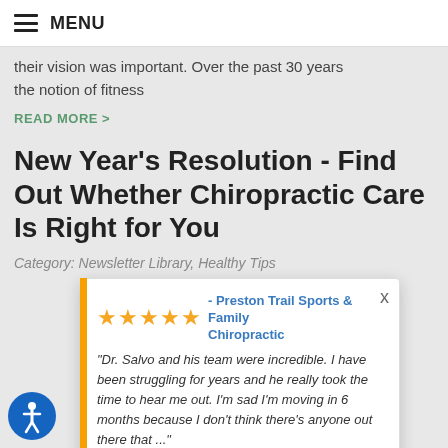MENU
their vision was important. Over the past 30 years the notion of fitness
READ MORE >
New Year's Resolution - Find Out Whether Chiropractic Care Is Right for You
Category: Newsletter Library, Healthy Tips
[Figure (other): Review popup overlay showing 5-star rating for Preston Trail Sports & Family Chiropractic with a review by Stefani Parrott, powered by Review Wave. Review text: "Dr. Salvo and his team were incredible. I have been struggling for years and he really took the time to hear me out. I'm sad I'm moving in 6 months because I don't think there's anyone out there that ..."]